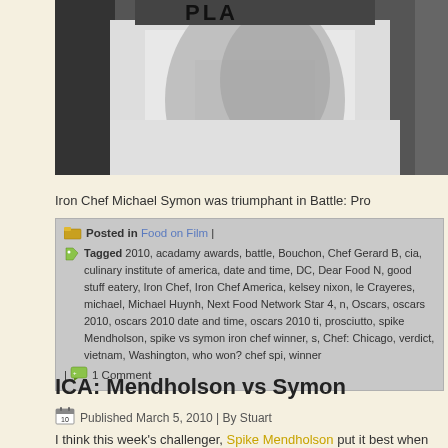[Figure (photo): Partial photo of a person wearing a white t-shirt with 'PLA' text visible at top, cropped close-up]
Iron Chef Michael Symon was triumphant in Battle: Pro
Posted in Food on Film |
Tagged 2010, acadamy awards, battle, Bouchon, Chef Gerard B, cia, culinary institute of america, date and time, DC, Dear Food N, good stuff eatery, Iron Chef, Iron Chef America, kelsey nixon, le Crayeres, michael, Michael Huynh, Next Food Network Star 4, n, Oscars, oscars 2010, oscars 2010 date and time, oscars 2010 ti, prosciutto, spike Mendholson, spike vs symon iron chef winner, s, Chef: Chicago, verdict, vietnam, Washington, who won? chef spi, winner
1 Comment
ICA: Mendholson vs Symon
Published March 5, 2010 | By Stuart
I think this week's challenger, Spike Mendholson put it best when he